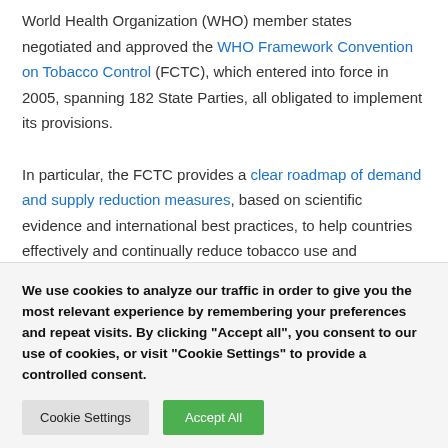World Health Organization (WHO) member states negotiated and approved the WHO Framework Convention on Tobacco Control (FCTC), which entered into force in 2005, spanning 182 State Parties, all obligated to implement its provisions.
In particular, the FCTC provides a clear roadmap of demand and supply reduction measures, based on scientific evidence and international best practices, to help countries effectively and continually reduce tobacco use and exposure, in order “to protect present and future generations from the devastating
We use cookies to analyze our traffic in order to give you the most relevant experience by remembering your preferences and repeat visits. By clicking "Accept all", you consent to our use of cookies, or visit "Cookie Settings" to provide a controlled consent.